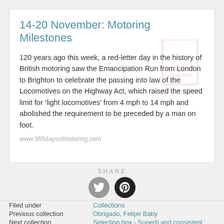14-20 November: Motoring Milestones
120 years ago this week, a red-letter day in the history of British motoring saw the Emancipation Run from London to Brighton to celebrate the passing into law of the Locomotives on the Highway Act, which raised the speed limit for ‘light locomotives’ from 4 mph to 14 mph and abolished the requirement to be preceded by a man on foot.
www.365daysofmotoring.com
SHARE
Filed under   Collections
Previous collection   Obrigado, Felipe Baby
Next collection   Selection box - Superb and consistent
Selection box - The thrills and spills of